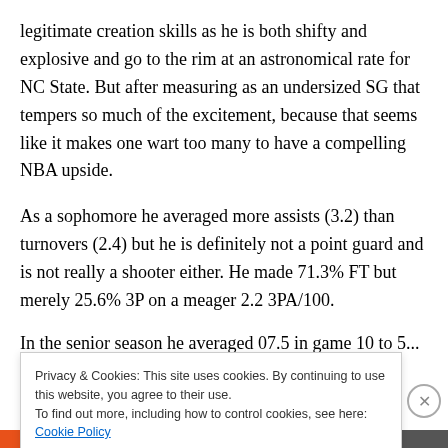legitimate creation skills as he is both shifty and explosive and go to the rim at an astronomical rate for NC State. But after measuring as an undersized SG that tempers so much of the excitement, because that seems like it makes one wart too many to have a compelling NBA upside.
As a sophomore he averaged more assists (3.2) than turnovers (2.4) but he is definitely not a point guard and is not really a shooter either. He made 71.3% FT but merely 25.6% 3P on a meager 2.2 3PA/100.
In the senior season he averaged 07.5 in game 10 to 5...
Privacy & Cookies: This site uses cookies. By continuing to use this website, you agree to their use.
To find out more, including how to control cookies, see here: Cookie Policy